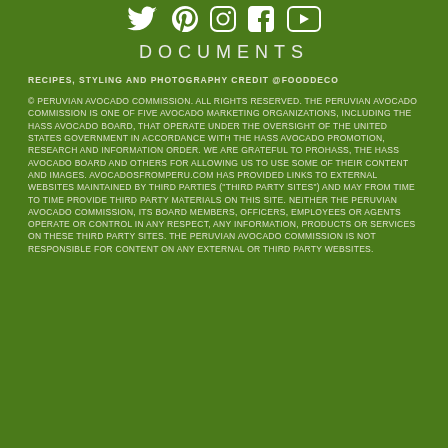[Figure (other): Social media icons row: Twitter, Pinterest, Instagram, Facebook, YouTube — white icons on green background]
DOCUMENTS
RECIPES, STYLING AND PHOTOGRAPHY CREDIT @FOODDECO
© PERUVIAN AVOCADO COMMISSION. ALL RIGHTS RESERVED. THE PERUVIAN AVOCADO COMMISSION IS ONE OF FIVE AVOCADO MARKETING ORGANIZATIONS, INCLUDING THE HASS AVOCADO BOARD, THAT OPERATE UNDER THE OVERSIGHT OF THE UNITED STATES GOVERNMENT IN ACCORDANCE WITH THE HASS AVOCADO PROMOTION, RESEARCH AND INFORMATION ORDER. WE ARE GRATEFUL TO PROHASS, THE HASS AVOCADO BOARD AND OTHERS FOR ALLOWING US TO USE SOME OF THEIR CONTENT AND IMAGES. AVOCADOSFROMPERU.COM HAS PROVIDED LINKS TO EXTERNAL WEBSITES MAINTAINED BY THIRD PARTIES ("THIRD PARTY SITES") AND MAY FROM TIME TO TIME PROVIDE THIRD PARTY MATERIALS ON THIS SITE. NEITHER THE PERUVIAN AVOCADO COMMISSION, ITS BOARD MEMBERS, OFFICERS, EMPLOYEES OR AGENTS OPERATE OR CONTROL IN ANY RESPECT, ANY INFORMATION, PRODUCTS OR SERVICES ON THESE THIRD PARTY SITES. THE PERUVIAN AVOCADO COMMISSION IS NOT RESPONSIBLE FOR CONTENT ON ANY EXTERNAL OR THIRD PARTY WEBSITES.